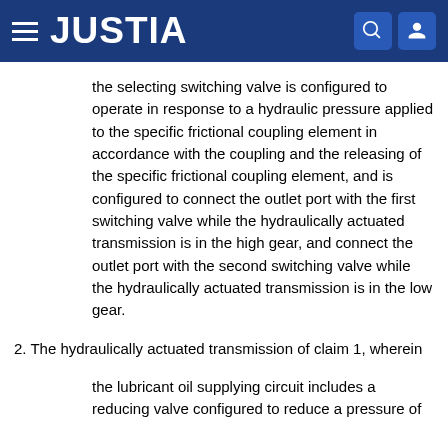JUSTIA
the selecting switching valve is configured to operate in response to a hydraulic pressure applied to the specific frictional coupling element in accordance with the coupling and the releasing of the specific frictional coupling element, and is configured to connect the outlet port with the first switching valve while the hydraulically actuated transmission is in the high gear, and connect the outlet port with the second switching valve while the hydraulically actuated transmission is in the low gear.
2. The hydraulically actuated transmission of claim 1, wherein
the lubricant oil supplying circuit includes a reducing valve configured to reduce a pressure of